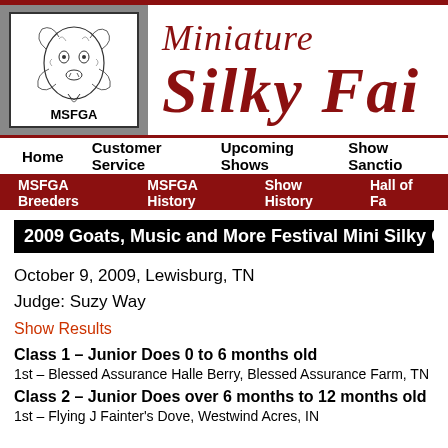[Figure (logo): MSFGA logo with illustrated goat head, framed in gray textured border, with text MSFGA below]
Miniature Silky Fai[rn Goat Association]
Home   Customer Service   Upcoming Shows   Show Sanctio[ning]
MSFGA Breeders   MSFGA History   Show History   Hall of Fa[me]
2009 Goats, Music and More Festival Mini Silky Goa[t Show]
October 9, 2009, Lewisburg, TN
Judge: Suzy Way
Show Results
Class 1 – Junior Does 0 to 6 months old
1st – Blessed Assurance Halle Berry, Blessed Assurance Farm, TN
Class 2 – Junior Does over 6 months to 12 months old
1st – Flying J Fainter's Dove, Westwind Acres, IN